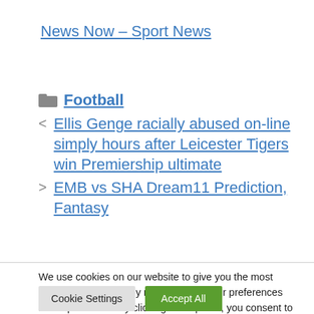News Now – Sport News
Football
Ellis Genge racially abused on-line simply hours after Leicester Tigers win Premiership ultimate
EMB vs SHA Dream11 Prediction, Fantasy
We use cookies on our website to give you the most relevant experience by remembering your preferences and repeat visits. By clicking “Accept All”, you consent to the use of ALL the cookies. However, you may visit "Cookie Settings" to provide a controlled consent.